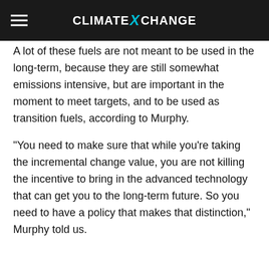CLIMATE XCHANGE
A lot of these fuels are not meant to be used in the long-term, because they are still somewhat emissions intensive, but are important in the moment to meet targets, and to be used as transition fuels, according to Murphy.
“You need to make sure that while you’re taking the incremental change value, you are not killing the incentive to bring in the advanced technology that can get you to the long-term future. So you need to have a policy that makes that distinction,” Murphy told us.